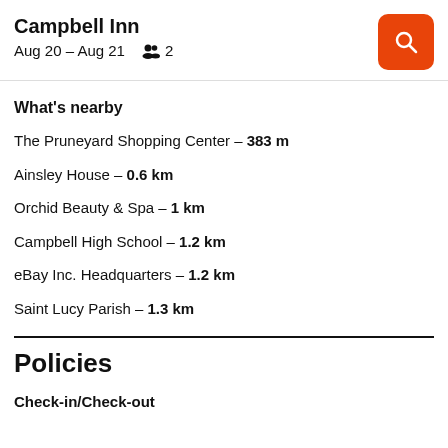Campbell Inn
Aug 20 – Aug 21   👥 2
What's nearby
The Pruneyard Shopping Center – 383 m
Ainsley House – 0.6 km
Orchid Beauty & Spa – 1 km
Campbell High School – 1.2 km
eBay Inc. Headquarters – 1.2 km
Saint Lucy Parish – 1.3 km
Policies
Check-in/Check-out